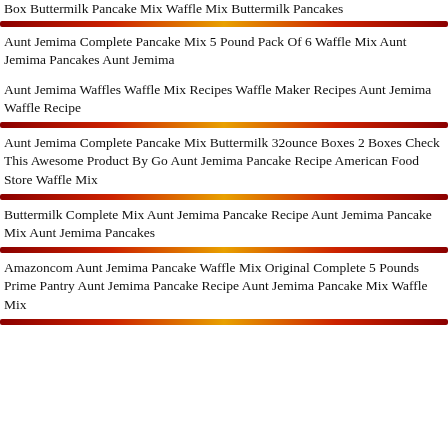Box Buttermilk Pancake Mix Waffle Mix Buttermilk Pancakes
[Figure (illustration): Decorative horizontal divider with red and golden pattern]
Aunt Jemima Complete Pancake Mix 5 Pound Pack Of 6 Waffle Mix Aunt Jemima Pancakes Aunt Jemima
Aunt Jemima Waffles Waffle Mix Recipes Waffle Maker Recipes Aunt Jemima Waffle Recipe
[Figure (illustration): Decorative horizontal divider with red and golden pattern]
Aunt Jemima Complete Pancake Mix Buttermilk 32ounce Boxes 2 Boxes Check This Awesome Product By Go Aunt Jemima Pancake Recipe American Food Store Waffle Mix
[Figure (illustration): Decorative horizontal divider with red and golden pattern]
Buttermilk Complete Mix Aunt Jemima Pancake Recipe Aunt Jemima Pancake Mix Aunt Jemima Pancakes
[Figure (illustration): Decorative horizontal divider with red and golden pattern]
Amazoncom Aunt Jemima Pancake Waffle Mix Original Complete 5 Pounds Prime Pantry Aunt Jemima Pancake Recipe Aunt Jemima Pancake Mix Waffle Mix
[Figure (illustration): Decorative horizontal divider with red and golden pattern at bottom (partial)]